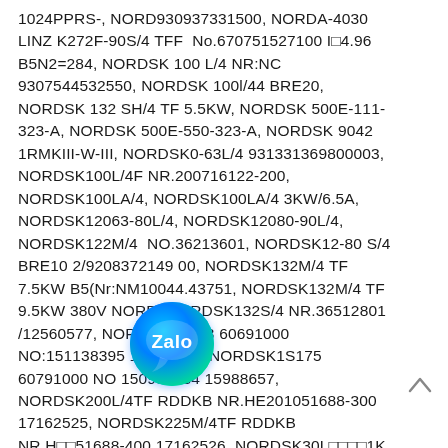1024PPRS-, NORD930937331500, NORDA-4030 LINZ K272F-90S/4 TFF  No.670751527100 I□4.96 B5N2=284, NORDSK 100 L/4 NR:NC 9307544532550, NORDSK 100l/44 BRE20, NORDSK 132 SH/4 TF 5.5KW, NORDSK 500E-111-323-A, NORDSK 500E-550-323-A, NORDSK 9042 1RMKIII-W-III, NORDSK0-63L/4 931331369800003, NORDSK100L/4F NR.200716122-200, NORDSK100LA/4, NORDSK100LA/4 3KW/6.5A, NORDSK12063-80L/4, NORDSK12080-90L/4, NORDSK122M/4  NO.36213601, NORDSK12-80 S/4 BRE10 2/9208372149 00, NORDSK132M/4 TF 7.5KW B5(Nr:NM10044.43751, NORDSK132M/4 TF 9.5KW 380V NORD, NORDSK132S/4 NR.36512801 /12560577, NORDSK1S163 60691000 NO:151138395 17033772, NORDSK1S175 60791000 NO 150931384 15988657, NORDSK200L/4TF RDDKB NR.HE201051688-300 17162525, NORDSK225M/4TF RDDKB NR.H□□51688-400 17162526, NORDSK30L□□□□1K Nr.100642498800 1375RPM 0.75KW, NORDSK□473F-80L/4 BRE10 0.75kW B5 FLANGE1, NORDSK63 180MU/4TF F, NORDSK63S/4
[Figure (logo): Zalo app icon/badge - circular gradient button with 'Zalo' text in white on blue-green gradient background]